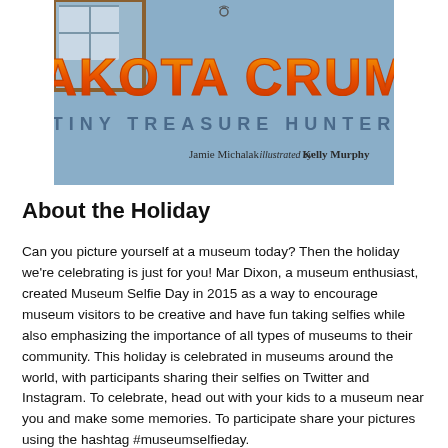[Figure (illustration): Book cover for 'Dakota Crumb: Tiny Treasure Hunter' by Jamie Michalak, illustrated by Kelly Murphy. Large orange/yellow gradient lettering on a blue-purple background with a building window in the upper left corner.]
About the Holiday
Can you picture yourself at a museum today? Then the holiday we're celebrating is just for you! Mar Dixon, a museum enthusiast, created Museum Selfie Day in 2015 as a way to encourage museum visitors to be creative and have fun taking selfies while also emphasizing the importance of all types of museums to their community. This holiday is celebrated in museums around the world, with participants sharing their selfies on Twitter and Instagram. To celebrate, head out with your kids to a museum near you and make some memories. To participate share your pictures using the hashtag #museumselfieday.